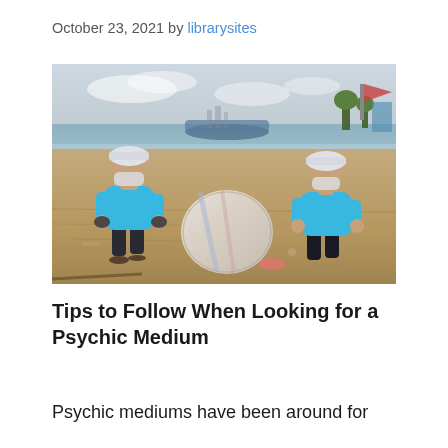October 23, 2021 by librarysites
[Figure (photo): Two people wearing white caps and face masks crouching on a littered beach, collecting waste into a large plastic bag. Boats visible in background near water.]
Tips to Follow When Looking for a Psychic Medium
Psychic mediums have been around for